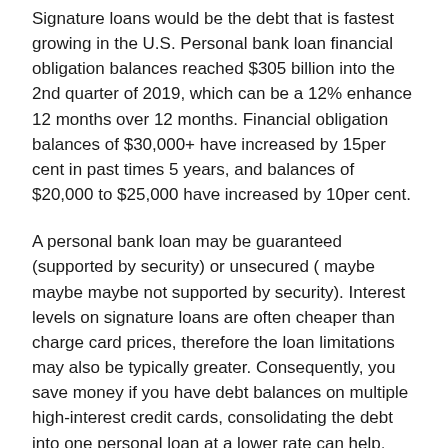Signature loans would be the debt that is fastest growing in the U.S. Personal bank loan financial obligation balances reached $305 billion into the 2nd quarter of 2019, which can be a 12% enhance 12 months over 12 months. Financial obligation balances of $30,000+ have increased by 15per cent in past times 5 years, and balances of $20,000 to $25,000 have increased by 10per cent.
A personal bank loan may be guaranteed (supported by security) or unsecured ( maybe maybe maybe not supported by security). Interest levels on signature loans are often cheaper than charge card prices, therefore the loan limitations may also be typically greater. Consequently, you save money if you have debt balances on multiple high-interest credit cards, consolidating the debt into one personal loan at a lower rate can help.
A study by Experian revealed that folks are mainly using unsecured loans for the reasons that are following